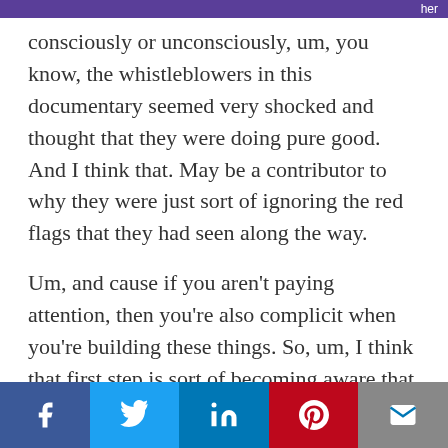her
consciously or unconsciously, um, you know, the whistleblowers in this documentary seemed very shocked and thought that they were doing pure good. And I think that. May be a contributor to why they were just sort of ignoring the red flags that they had seen along the way.
Um, and cause if you aren't paying attention, then you're also complicit when you're building these things. So, um, I think that first step is sort of becoming aware that it's possible that we are doing harm. And then, you know, just practicing gratitude and compassion. I mean, it's, it's really hard to, um, to do it sometimes, but it's, I think
Social share bar: Facebook, Twitter, LinkedIn, Pinterest, Email